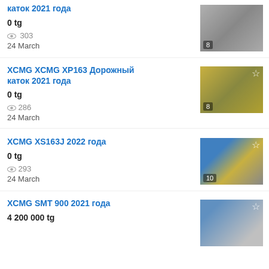каток 2021 года
0 tg
303 views
24 March
XCMG XCMG XP163 Дорожный каток 2021 года
0 tg
286 views
24 March
XCMG XS163J 2022 года
0 tg
293 views
24 March
XCMG SMT 900 2021 года
4 200 000 tg